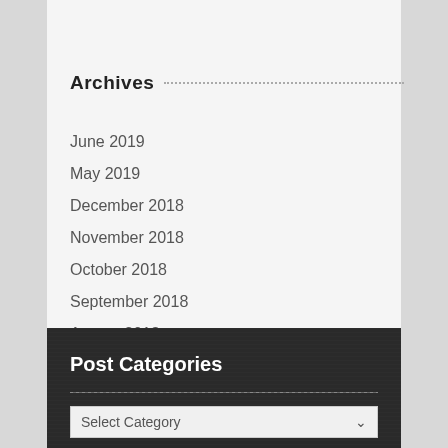3D Wire Hand
Archives
June 2019
May 2019
December 2018
November 2018
October 2018
September 2018
August 2018
Post Categories
Select Category